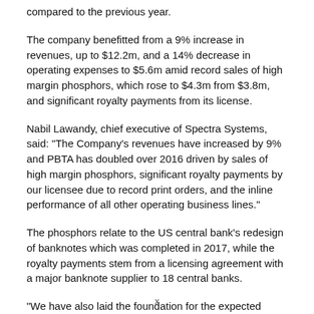compared to the previous year.
The company benefitted from a 9% increase in revenues, up to $12.2m, and a 14% decrease in operating expenses to $5.6m amid record sales of high margin phosphors, which rose to $4.3m from $3.8m, and significant royalty payments from its license.
Nabil Lawandy, chief executive of Spectra Systems, said: "The Company's revenues have increased by 9% and PBTA has doubled over 2016 driven by sales of high margin phosphors, significant royalty payments by our licensee due to record print orders, and the inline performance of all other operating business lines."
The phosphors relate to the US central bank's redesign of banknotes which was completed in 2017, while the royalty payments stem from a licensing agreement with a major banknote supplier to 18 central banks.
"We have also laid the foundation for the expected adoption of a new security feature for polymer banknotes by a major central bank and have achieved success with the large scale production tests of our smartphone based TruBrand authentication technology," said Lawandy.
x